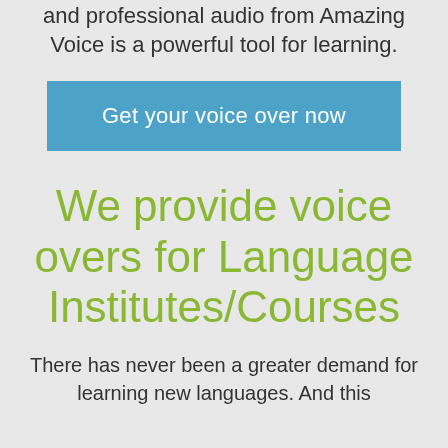and professional audio from Amazing Voice is a powerful tool for learning.
[Figure (other): Blue call-to-action button with text 'Get your voice over now']
We provide voice overs for Language Institutes/Courses
There has never been a greater demand for learning new languages. And this